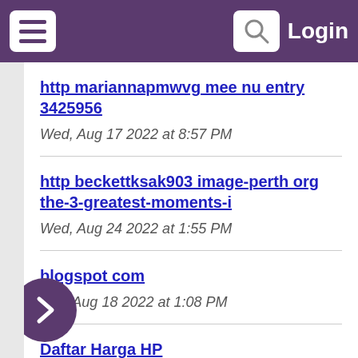Login
http mariannapmwvg mee nu entry 3425956
Wed, Aug 17 2022 at 8:57 PM
http beckettksak903 image-perth org the-3-greatest-moments-i
Wed, Aug 24 2022 at 1:55 PM
blogspot com
Thu, Aug 18 2022 at 1:08 PM
Daftar Harga HP
Fri, Aug 12 2022 at 8:44 AM